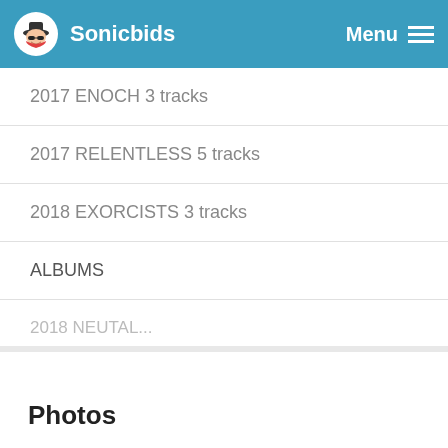Sonicbids Menu
2017 ENOCH 3 tracks
2017 RELENTLESS 5 tracks
2018 EXORCISTS 3 tracks
ALBUMS
2018 NEUTRAL ...
Photos